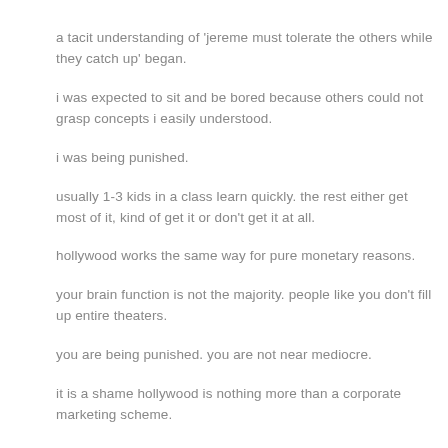a tacit understanding of 'jereme must tolerate the others while they catch up' began.
i was expected to sit and be bored because others could not grasp concepts i easily understood.
i was being punished.
usually 1-3 kids in a class learn quickly. the rest either get most of it, kind of get it or don't get it at all.
hollywood works the same way for pure monetary reasons.
your brain function is not the majority. people like you don't fill up entire theaters.
you are being punished. you are not near mediocre.
it is a shame hollywood is nothing more than a corporate marketing scheme.